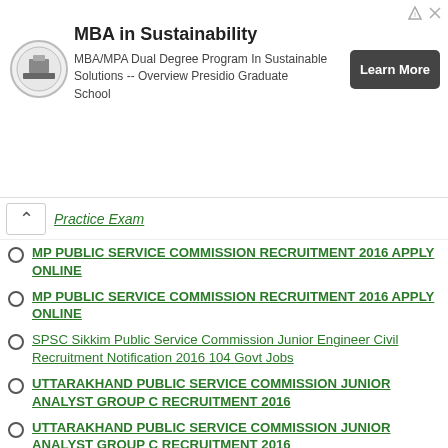[Figure (other): Advertisement banner for MBA in Sustainability - MBA/MPA Dual Degree Program In Sustainable Solutions -- Overview Presidio Graduate School with Learn More button]
Practice Exam (partially visible, nav link)
MP PUBLIC SERVICE COMMISSION RECRUITMENT 2016 APPLY ONLINE
MP PUBLIC SERVICE COMMISSION RECRUITMENT 2016 APPLY ONLINE
SPSC Sikkim Public Service Commission Junior Engineer Civil Recruitment Notification 2016 104 Govt Jobs
UTTARAKHAND PUBLIC SERVICE COMMISSION JUNIOR ANALYST GROUP C RECRUITMENT 2016
UTTARAKHAND PUBLIC SERVICE COMMISSION JUNIOR ANALYST GROUP C RECRUITMENT 2016